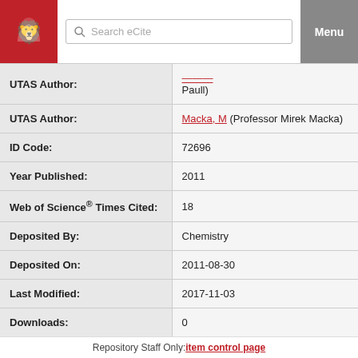Search eCite | Menu
| Field | Value |
| --- | --- |
| UTAS Author: | Paull) |
| UTAS Author: | Macka, M (Professor Mirek Macka) |
| ID Code: | 72696 |
| Year Published: | 2011 |
| Web of Science® Times Cited: | 18 |
| Deposited By: | Chemistry |
| Deposited On: | 2011-08-30 |
| Last Modified: | 2017-11-03 |
| Downloads: | 0 |
Repository Staff Only: item control page